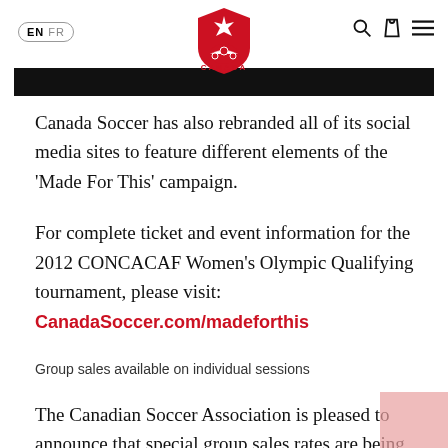EN  FR  Canada Soccer logo  Search Shopping-bag Menu
[Figure (photo): Black banner image at top of page]
Canada Soccer has also rebranded all of its social media sites to feature different elements of the ‘Made For This’ campaign.
For complete ticket and event information for the 2012 CONCACAF Women’s Olympic Qualifying tournament, please visit: CanadaSoccer.com/madeforthis
Group sales available on individual sessions
The Canadian Soccer Association is pleased to announce that special group sales rates are being offered for